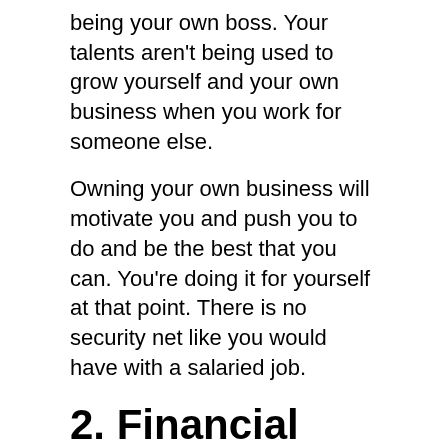being your own boss. Your talents aren't being used to grow yourself and your own business when you work for someone else.
Owning your own business will motivate you and push you to do and be the best that you can. You're doing it for yourself at that point. There is no security net like you would have with a salaried job.
2. Financial Independence
Another reason to start your business is the financial independence that it will afford you. Once you've established a reputation and built a clientele, you'll start to see good returns on your investment. There is also the control of your paycheck. You can decide on how much